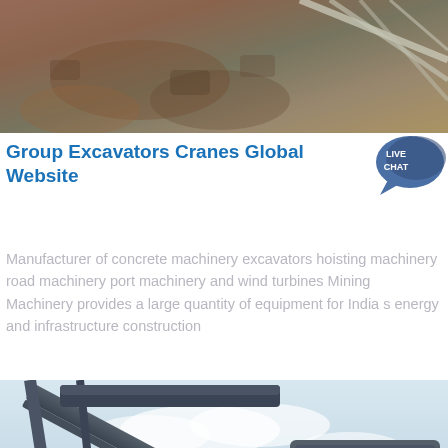[Figure (photo): Aerial/ground view of excavation site with reddish-brown earth and metal structural elements visible]
Group Excavators Cranes Global Website
[Figure (other): Live Chat button widget — dark blue speech bubble with 'LIVE CHAT' text in white]
Manufacturer of concrete machinery excavators hoisting machinery road machinery port machinery and wind turbines Mining Machinery provides a large quantity of equipment for India s energy and infrastructure construction
[Figure (photo): Industrial mining/crushing plant machinery with conveyor belts and large crusher unit against a cloudy sky]